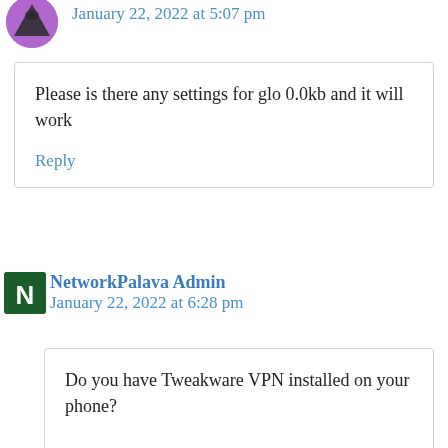January 22, 2022 at 5:07 pm
Please is there any settings for glo 0.0kb and it will work
Reply
NetworkPalava Admin
January 22, 2022 at 6:28 pm
Do you have Tweakware VPN installed on your phone?